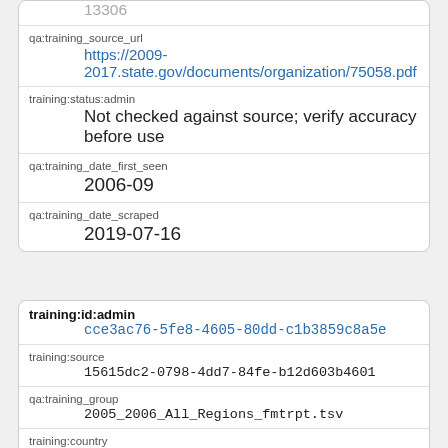13306
qa:training_source_url
https://2009-2017.state.gov/documents/organization/75058.pdf
training:status:admin
Not checked against source; verify accuracy before use
qa:training_date_first_seen
2006-09
qa:training_date_scraped
2019-07-16
training:id:admin
cce3ac76-5fe8-4605-80dd-c1b3859c8a5e
training:source
15615dc2-0798-4dd7-84fe-b12d603b4601
qa:training_group
2005_2006_All_Regions_fmtrpt.tsv
training:country
Afghanistan